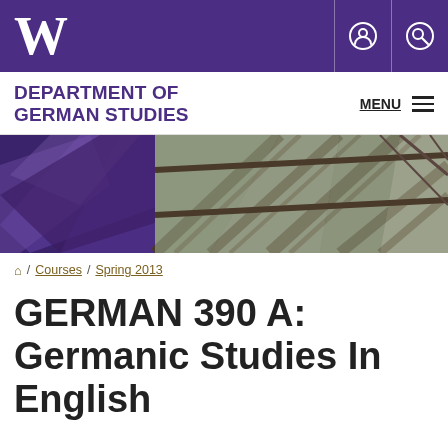W — University of Washington
DEPARTMENT OF GERMAN STUDIES
[Figure (photo): Architectural photo showing geometric glass and steel structure with purple geometric patterns on the left side.]
🏠 / Courses / Spring 2013
GERMAN 390 A: Germanic Studies In English